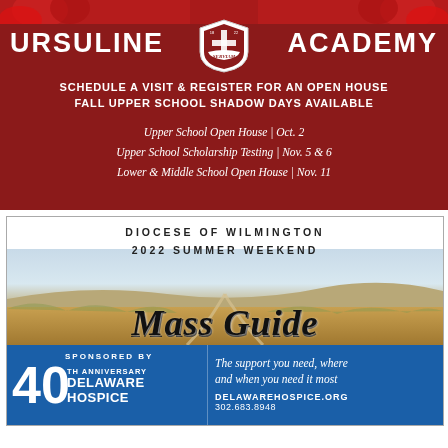[Figure (illustration): Ursuline Academy advertisement with dark red background. Shows school name, logo/crest, and event schedule for open houses and scholarship testing.]
URSULINE ACADEMY
SCHEDULE A VISIT & REGISTER FOR AN OPEN HOUSE FALL UPPER SCHOOL SHADOW DAYS AVAILABLE
Upper School Open House | Oct. 2
Upper School Scholarship Testing | Nov. 5 & 6
Lower & Middle School Open House | Nov. 11
[Figure (illustration): Diocese of Wilmington 2022 Summer Weekend Mass Guide advertisement. Features a landscape/field photograph background with cursive 'Mass Guide' text and Delaware Hospice 40th Anniversary sponsorship in a blue bar at the bottom.]
DIOCESE OF WILMINGTON 2022 SUMMER WEEKEND
Mass Guide
SPONSORED BY 40 TH ANNIVERSARY DELAWARE HOSPICE
The support you need, where and when you need it most DELAWAREHOSPICE.ORG 302.683.8948